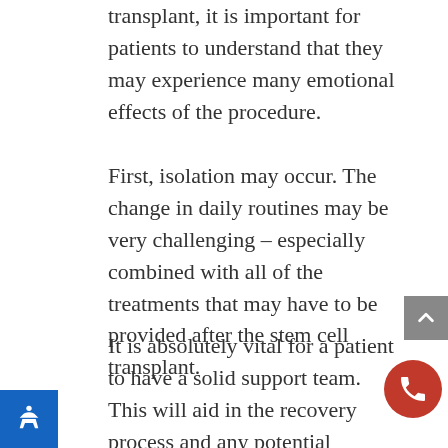transplant, it is important for patients to understand that they may experience many emotional effects of the procedure.
First, isolation may occur. The change in daily routines may be very challenging – especially combined with all of the treatments that may have to be provided after the stem cell transplant.
It is absolutely vital for a patient to have a solid support team. This will aid in the recovery process and any potential treatments and/or complications that may be experienced afterward.